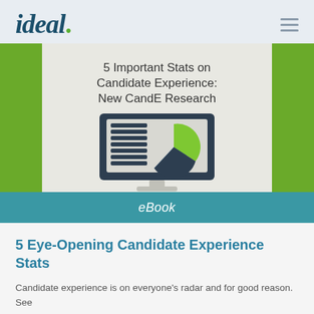ideal.
[Figure (illustration): eBook cover illustration showing a monitor with a pie chart and data table graphic, title '5 Important Stats on Candidate Experience: New CandE Research', on a green background]
eBook
5 Eye-Opening Candidate Experience Stats
Candidate experience is on everyone's radar and for good reason. See